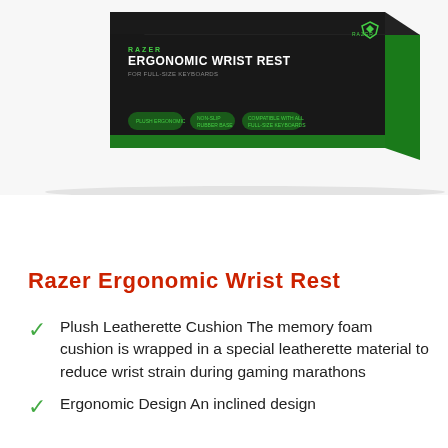[Figure (photo): Product box of Razer Ergonomic Wrist Rest for full-size keyboards, shown at an angle. The box is black with green accents featuring the Razer logo, product name, and feature icons.]
Razer Ergonomic Wrist Rest
Plush Leatherette Cushion The memory foam cushion is wrapped in a special leatherette material to reduce wrist strain during gaming marathons
Ergonomic Design An inclined design